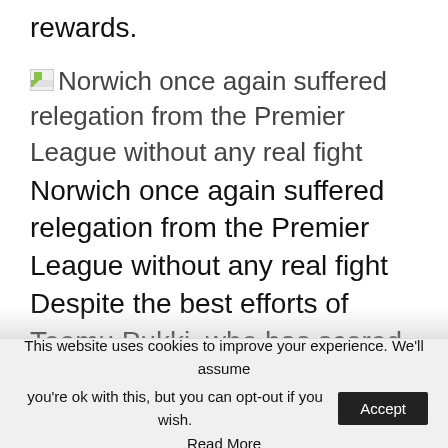rewards.
[Figure (illustration): Broken image icon placeholder for Norwich City football article image]
Norwich once again suffered relegation from the Premier League without any real fight
Norwich once again suffered relegation from the Premier League without any real fight
Despite the best efforts of Teemu Pukki, who has scored 11 times, Norwich have been thoroughly outplayed in the majority of their league games this season.
There have been streaks of five or six
This website uses cookies to improve your experience. We'll assume you're ok with this, but you can opt-out if you wish.
Read More